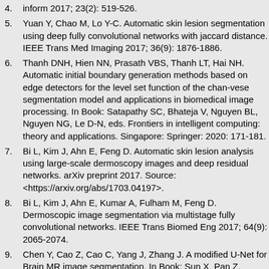Yuan Y, Chao M, Lo Y-C. Automatic skin lesion segmentation using deep fully convolutional networks with jaccard distance. IEEE Trans Med Imaging 2017; 36(9): 1876-1886.
Thanh DNH, Hien NN, Prasath VBS, Thanh LT, Hai NH. Automatic initial boundary generation methods based on edge detectors for the level set function of the chan-vese segmentation model and applications in biomedical image processing. In Book: Satapathy SC, Bhateja V, Nguyen BL, Nguyen NG, Le D-N, eds. Frontiers in intelligent computing: theory and applications. Singapore: Springer: 2020: 171-181.
Bi L, Kim J, Ahn E, Feng D. Automatic skin lesion analysis using large-scale dermoscopy images and deep residual networks. arXiv preprint 2017. Source: <https://arxiv.org/abs/1703.04197>.
Bi L, Kim J, Ahn E, Kumar A, Fulham M, Feng D. Dermoscopic image segmentation via multistage fully convolutional networks. IEEE Trans Biomed Eng 2017; 64(9): 2065-2074.
Chen Y, Cao Z, Cao C, Yang J, Zhang J. A modified U-Net for Brain MR image segmentation. In Book: Sun X, Pan Z, Bertino E, eds. Cloud computing and security. Cham: Springer; 2018: 233-242.